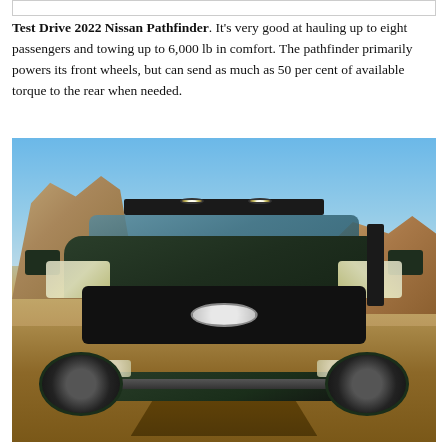Test Drive 2022 Nissan Pathfinder. It's very good at hauling up to eight passengers and towing up to 6,000 lb in comfort. The pathfinder primarily powers its front wheels, but can send as much as 50 per cent of available torque to the rear when needed.
[Figure (photo): Front-facing photo of a dark green 2022 Nissan Pathfinder SUV with a roof rack and dual spotlights, photographed in a desert/badlands terrain with rocky formations in the background and a dirt track in the foreground.]